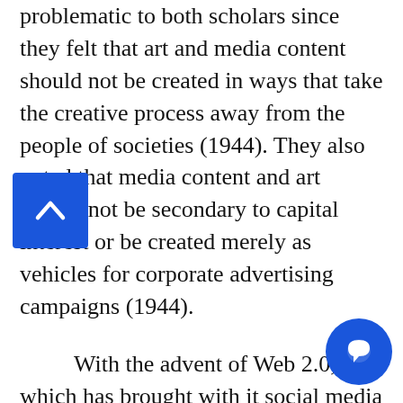problematic to both scholars since they felt that art and media content should not be created in ways that take the creative process away from the people of societies (1944). They also noted that media content and art should not be secondary to capital interest or be created merely as vehicles for corporate advertising campaigns (1944).
With the advent of Web 2.0, which has brought with it social media outlets including Instagram, it is evident that people have more control over advertising their small businesses and creating their own content, as witnessed through famous social media influencers and independent online small business owners. The capitalistic